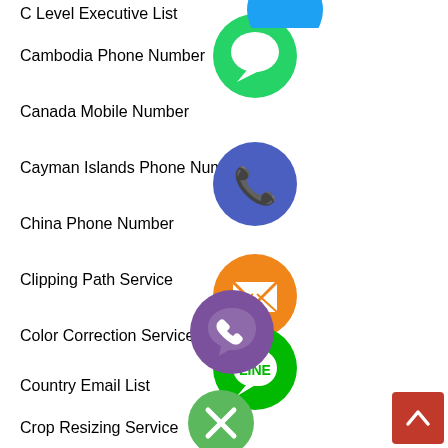C Level Executive List
Cambodia Phone Number
Canada Mobile Number
Cayman Islands Phone Number
China Phone Number
Clipping Path Service
Color Correction Service
Country Email List
Crop Resizing Service